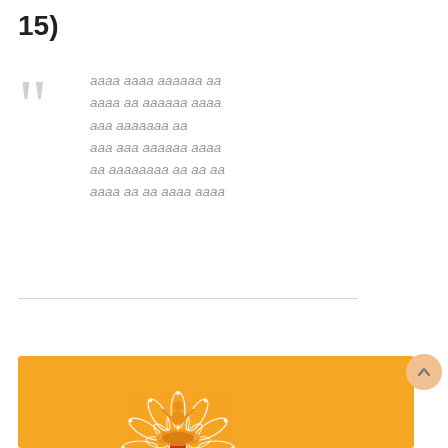15)
aaaa aaaa aaaaaa aa
aaaa aa aaaaaa aaaa
aaa aaaaaaa aa
aaa aaa aaaaaa aaaa
aa aaaaaaaa aa aa aa
aaaa aa aa aaaa aaaa
[Figure (illustration): Yellow/orange background with decorative white mandala pattern and a partially visible lotus/yoga figure at bottom center of frame. An orange scroll-to-top button appears in the upper right of the image block.]